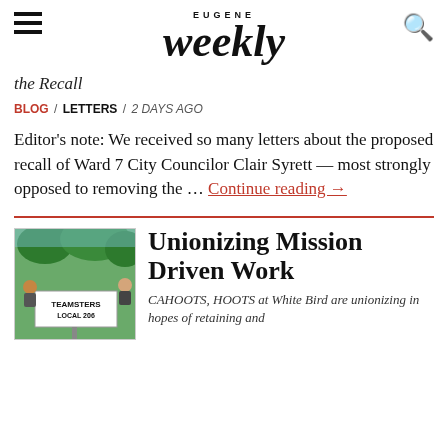EUGENE Weekly
the Recall
BLOG / LETTERS / 2 DAYS AGO
Editor's note: We received so many letters about the proposed recall of Ward 7 City Councilor Clair Syrett — most strongly opposed to removing the … Continue reading →
[Figure (photo): Photo of people holding a Teamsters Local 206 sign outdoors]
Unionizing Mission Driven Work
CAHOOTS, HOOTS at White Bird are unionizing in hopes of retaining and